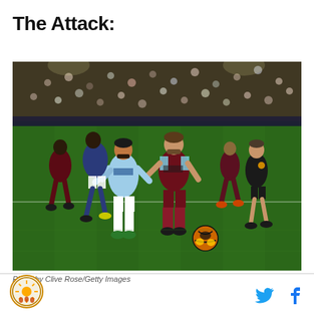The Attack:
[Figure (photo): Football match action photo showing West Ham players in claret and blue kit with a player controlling the ball, challenged by Manchester City players in light blue kit, with a referee in black and crowd in background on a green pitch at night.]
Photo by Clive Rose/Getty Images
[Figure (logo): Circular sports/club logo with sun and figures design]
[Figure (other): Twitter bird icon and Facebook f icon social media links]